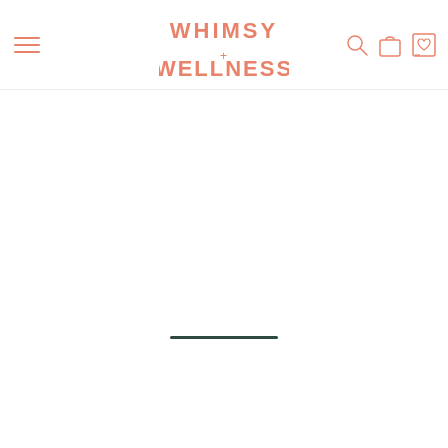Whimsy + Wellness
[Figure (logo): Whimsy + Wellness brand logo in coral/salmon color with stylized playful font, accompanied by hamburger menu icon on the left and search, bag, and wishlist icons on the right]